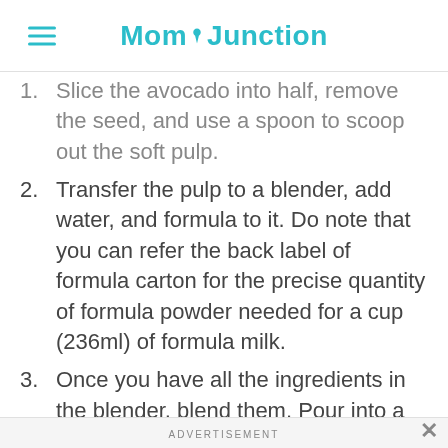MomJunction
Slice the avocado into half, remove the seed, and use a spoon to scoop out the soft pulp.
Transfer the pulp to a blender, add water, and formula to it. Do note that you can refer the back label of formula carton for the precise quantity of formula powder needed for a cup (236ml) of formula milk.
Once you have all the ingredients in the blender, blend them. Pour into a cup and serve to the baby right away.
ADVERTISEMENT